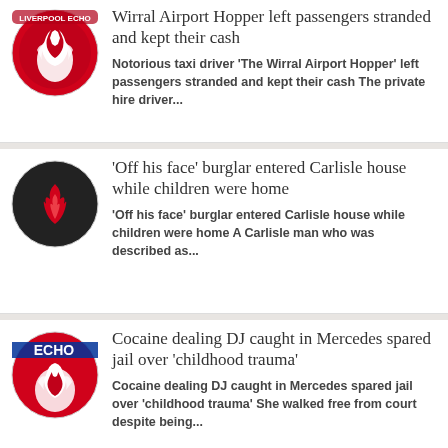[Figure (logo): Liverpool Echo red logo with liver bird]
Wirral Airport Hopper left passengers stranded and kept their cash
Notorious taxi driver ‘The Wirral Airport Hopper’ left passengers stranded and kept their cash The private hire driver...
[Figure (logo): Black circle logo with red flame/hotspot icon]
‘Off his face’ burglar entered Carlisle house while children were home
‘Off his face’ burglar entered Carlisle house while children were home A Carlisle man who was described as...
[Figure (logo): Liverpool Echo red logo with ECHO text and liver bird]
Cocaine dealing DJ caught in Mercedes spared jail over ‘childhood trauma’
Cocaine dealing DJ caught in Mercedes spared jail over ‘childhood trauma’ She walked free from court despite being...
[Figure (logo): Black circle logo partially visible]
Abusive Kendal man kicked PC